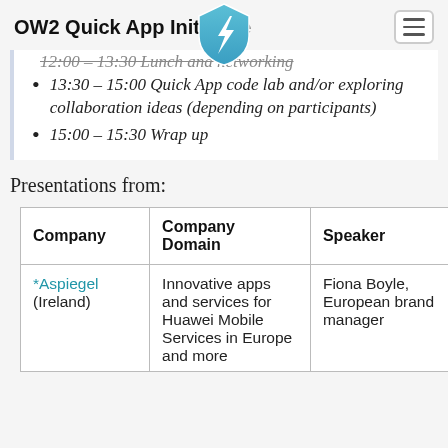OW2 Quick App Initiative
[Figure (logo): Blue shield logo with white lightning bolt icon]
12:00 – 13:30 Lunch and networking (struck through)
13:30 – 15:00 Quick App code lab and/or exploring collaboration ideas (depending on participants)
15:00 – 15:30 Wrap up
Presentations from:
| Company | Company Domain | Speaker |
| --- | --- | --- |
| *Aspiegel (Ireland) | Innovative apps and services for Huawei Mobile Services in Europe and more | Fiona Boyle, European brand manager |